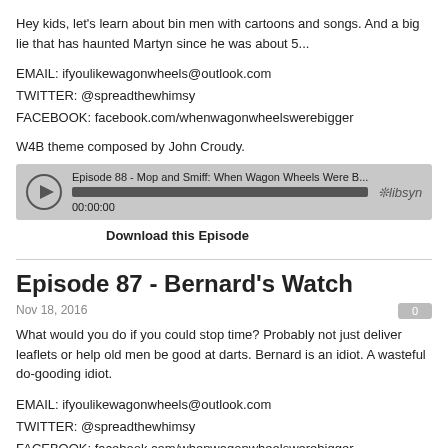Hey kids, let's learn about bin men with cartoons and songs. And a big lie that has haunted Martyn since he was about 5...
EMAIL: ifyoulikewagonwheels@outlook.com
TWITTER: @spreadthewhimsy
FACEBOOK: facebook.com/whenwagonwheelswerebigger
W4B theme composed by John Croudy.
[Figure (other): Audio player widget showing Episode 88 - Mop and Smiff: When Wagon Wheels Were B... with progress bar at 00:00:00 and libsyn logo]
Download this Episode
Episode 87 - Bernard's Watch
Nov 18, 2016
What would you do if you could stop time? Probably not just deliver leaflets or help old men be good at darts. Bernard is an idiot. A wasteful do-gooding idiot.
EMAIL: ifyoulikewagonwheels@outlook.com
TWITTER: @spreadthewhimsy
FACEBOOK: facebook.com/whenwagonwheelswerebigger